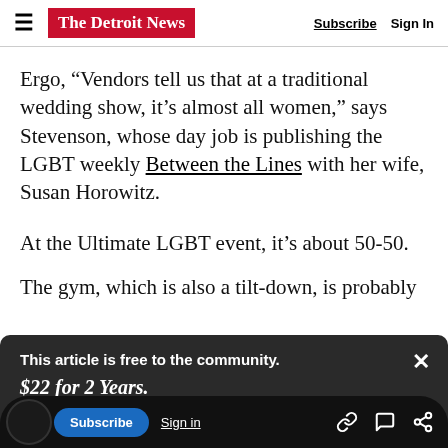The Detroit News | Subscribe | Sign In
Ergo, “Vendors tell us that at a traditional wedding show, it’s almost all women,” says Stevenson, whose day job is publishing the LGBT weekly Between the Lines with her wife, Susan Horowitz.
At the Ultimate LGBT event, it’s about 50-50.
The gym, which is also a tilt-down, is probably
[Figure (screenshot): Dark overlay banner with subscription prompt: 'This article is free to the community. $22 for 2 Years. Subscribe now' with close button (X)]
Subscribe | Sign in | link icon | comment icon | share icon
before last June 26.